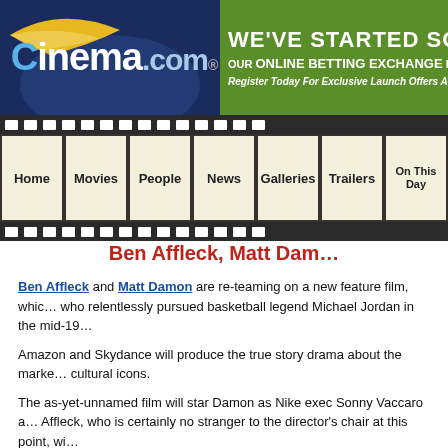Cinema.com — WE'VE STARTED SOM… OUR ONLINE BETTING EXCHANGE IS CO… Register Today For Exclusive Launch Offers And Bett…
[Figure (screenshot): Film strip navigation bar with cells: Home, Movies, People, News, Galleries, Trailers, On This Day]
Ben Affleck, Matt Dam…
Ben Affleck and Matt Damon are re-teaming on a new feature film, which follows the Nike executive who relentlessly pursued basketball legend Michael Jordan in the mid-19…
Amazon and Skydance will produce the true story drama about the marke… cultural icons.
The as-yet-unnamed film will star Damon as Nike exec Sonny Vaccaro a… Affleck, who is certainly no stranger to the director's chair at this point, wi…
The film will follow Vaccaro's conquest and introduce audiences to Jorda… dynamic mother, as well as former coaches, advisors, friends and those e… first time Affleck will direct Damon. Both men will do a pass on Alex Conv…